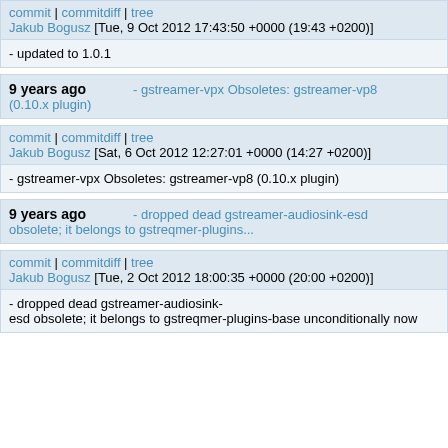commit | commitdiff | tree
Jakub Bogusz [Tue, 9 Oct 2012 17:43:50 +0000 (19:43 +0200)]
- updated to 1.0.1
9 years ago   - gstreamer-vpx Obsoletes: gstreamer-vp8 (0.10.x plugin)
commit | commitdiff | tree
Jakub Bogusz [Sat, 6 Oct 2012 12:27:01 +0000 (14:27 +0200)]
- gstreamer-vpx Obsoletes: gstreamer-vp8 (0.10.x plugin)
9 years ago   - dropped dead gstreamer-audiosink-esd obsolete; it belongs to gstreqmer-plugins...
commit | commitdiff | tree
Jakub Bogusz [Tue, 2 Oct 2012 18:00:35 +0000 (20:00 +0200)]
- dropped dead gstreamer-audiosink-esd obsolete; it belongs to gstreqmer-plugins-base unconditionally now